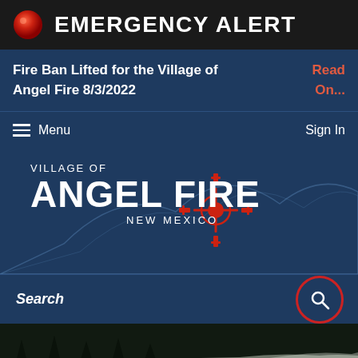EMERGENCY ALERT
Fire Ban Lifted for the Village of Angel Fire 8/3/2022
Read On...
Menu
Sign In
[Figure (logo): Village of Angel Fire, New Mexico logo with red Zia sun symbol and mountain silhouette]
Search